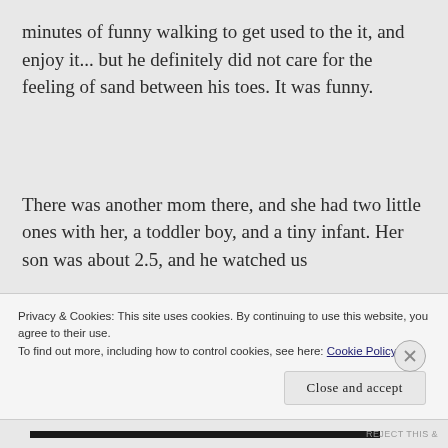minutes of funny walking to get used to the it, and enjoy it... but he definitely did not care for the feeling of sand between his toes. It was funny.
There was another mom there, and she had two little ones with her, a toddler boy, and a tiny infant. Her son was about 2.5, and he watched us
Privacy & Cookies: This site uses cookies. By continuing to use this website, you agree to their use.
To find out more, including how to control cookies, see here: Cookie Policy
Close and accept